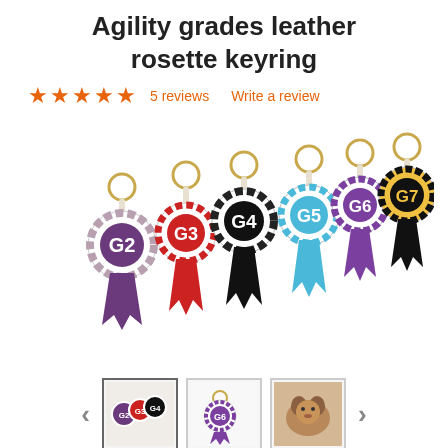Agility grades leather rosette keyring
★★★★★  5 reviews    Write a review
[Figure (photo): Six leather rosette keyrings labeled G2 through G7, each with gold key ring, displayed on white background. G2 is purple/white, G3 is red/white, G4 is black/white, G5 is blue/white, G6 is purple/white, G7 is black/gold/yellow.]
[Figure (photo): Thumbnail 1: multiple rosette keyrings grouped together]
[Figure (photo): Thumbnail 2: single rosette keyring (purple, G6 or G7)]
[Figure (photo): Thumbnail 3: dog wearing or holding a rosette keyring]